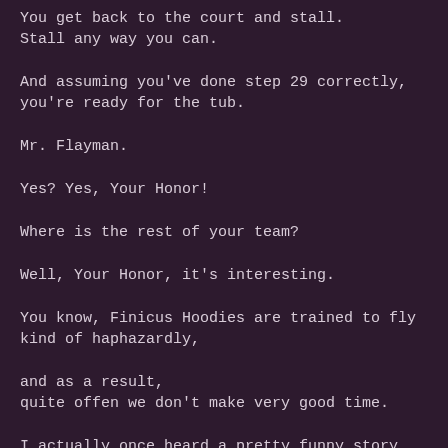You get back to the court and stall.
Stall any way you can.
And assuming you've done step 29 correctly, you're ready for the tub.
Mr. Flayman.
Yes? Yes, Your Honor!
Where is the rest of your team?
Well, Your Honor, it's interesting.
You know, Finicus Hoodies are trained to fly kind of haphazardly,
and as a result,
quite offen we don't make very good time.
I actually once heard a pretty funny story about a Finicus Hoodie…